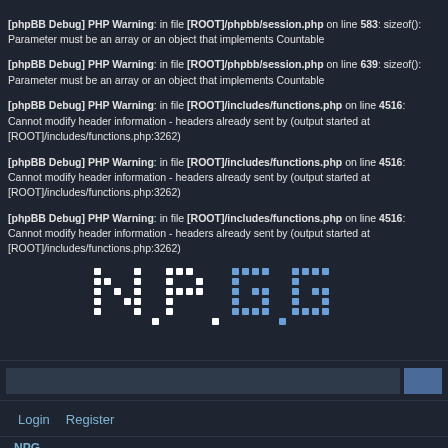[phpBB Debug] PHP Warning: in file [ROOT]/phpbb/session.php on line 583: sizeof(): Parameter must be an array or an object that implements Countable
[phpBB Debug] PHP Warning: in file [ROOT]/phpbb/session.php on line 639: sizeof(): Parameter must be an array or an object that implements Countable
[phpBB Debug] PHP Warning: in file [ROOT]/includes/functions.php on line 4516: Cannot modify header information - headers already sent by (output started at [ROOT]/includes/functions.php:3262)
[phpBB Debug] PHP Warning: in file [ROOT]/includes/functions.php on line 4516: Cannot modify header information - headers already sent by (output started at [ROOT]/includes/functions.php:3262)
[phpBB Debug] PHP Warning: in file [ROOT]/includes/functions.php on line 4516: Cannot modify header information - headers already sent by (output started at [ROOT]/includes/functions.php:3262)
[Figure (logo): Dot-matrix style logo on dark background with white and blue dots forming letters]
Login   Register
NPG
Next Phase Gaming - Registration
By accessing "Next Phase Gaming" (hereinafter "the forum"), "the wd"